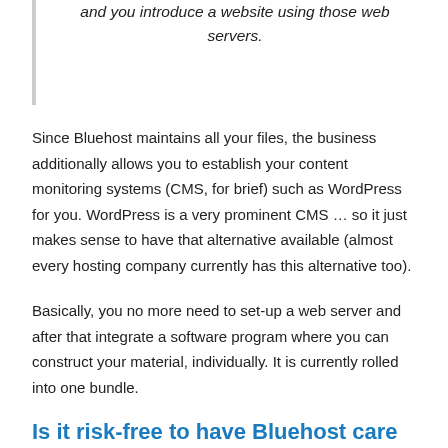and you introduce a website using those web servers.
Since Bluehost maintains all your files, the business additionally allows you to establish your content monitoring systems (CMS, for brief) such as WordPress for you. WordPress is a very prominent CMS … so it just makes sense to have that alternative available (almost every hosting company currently has this alternative too).
Basically, you no more need to set-up a web server and after that integrate a software program where you can construct your material, individually. It is currently rolled into one bundle.
Is it risk-free to have Bluehost care for your web sites?
Well … picture if your server is in your home. If anything were to